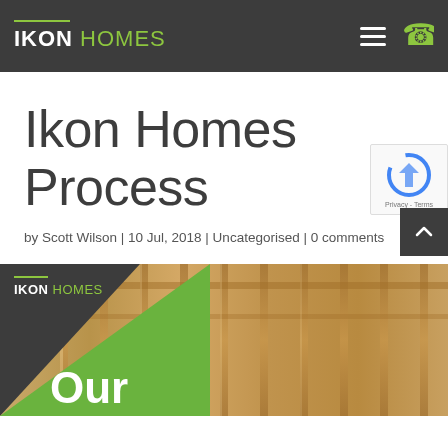IKON HOMES
Ikon Homes Process
by Scott Wilson | 10 Jul, 2018 | Uncategorised | 0 comments
[Figure (photo): Feature image showing timber frame construction with Ikon Homes branding, green and dark triangular overlay, and 'Our' text visible at the bottom.]